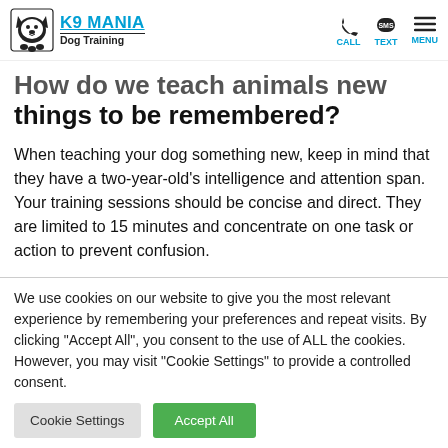K9 MANIA Dog Training — CALL TEXT MENU
How do we teach animals new things to be remembered?
When teaching your dog something new, keep in mind that they have a two-year-old’s intelligence and attention span. Your training sessions should be concise and direct. They are limited to 15 minutes and concentrate on one task or action to prevent confusion.
We use cookies on our website to give you the most relevant experience by remembering your preferences and repeat visits. By clicking “Accept All”, you consent to the use of ALL the cookies. However, you may visit “Cookie Settings” to provide a controlled consent.